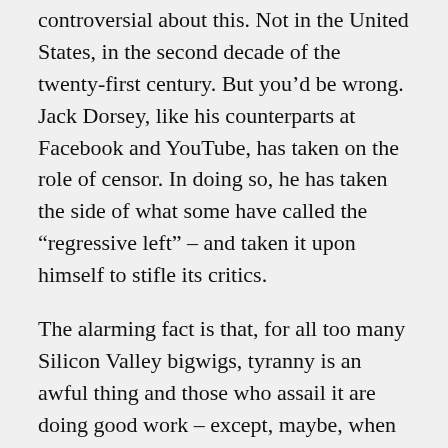controversial about this. Not in the United States, in the second decade of the twenty-first century. But you'd be wrong. Jack Dorsey, like his counterparts at Facebook and YouTube, has taken on the role of censor. In doing so, he has taken the side of what some have called the “regressive left” – and taken it upon himself to stifle its critics.
The alarming fact is that, for all too many Silicon Valley bigwigs, tyranny is an awful thing and those who assail it are doing good work – except, maybe, when it comes to tyranny in Cuba. Or China. Or in the Islamic world. Or in certain other countries and regions, perhaps, where those bigwigs may happen to have great business deals going on.